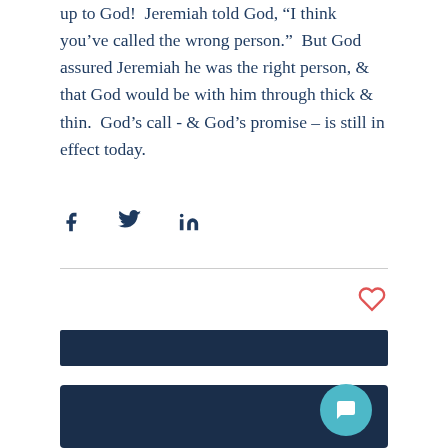up to God!  Jeremiah told God, "I think you've called the wrong person."  But God assured Jeremiah he was the right person, & that God would be with him through thick & thin.  God's call - & God's promise – is still in effect today.
[Figure (other): Social share icons for Facebook, Twitter, and LinkedIn]
[Figure (other): Heart (like) icon in red outline style]
[Figure (other): Dark navy horizontal bar element]
[Figure (other): Dark navy footer/footer section with teal chat bubble icon in bottom right]